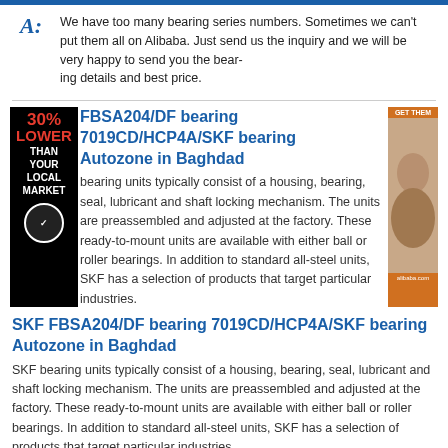A: We have too many bearing series numbers. Sometimes we can't put them all on Alibaba. Just send us the inquiry and we will be very happy to send you the bearing details and best price.
FBSA204/DF bearing 7019CD/HCP4A/SKF bearing Autozone in Baghdad
bearing units typically consist of a housing, bearing, seal, lubricant and shaft locking mechanism. The units are preassembled and adjusted at the factory. These ready-to-mount units are available with either ball or roller bearings. In addition to standard all-steel units, SKF has a selection of products that target particular industries.
SKF FBSA204/DF bearing 7019CD/HCP4A/SKF bearing Autozone in Baghdad
SKF bearing units typically consist of a housing, bearing, seal, lubricant and shaft locking mechanism. The units are preassembled and adjusted at the factory. These ready-to-mount units are available with either ball or roller bearings. In addition to standard all-steel units, SKF has a selection of products that target particular industries.
SKF FBSA204/DF bearing cheap SNFA BSDU 2 Best Price And 5 - 7 Days